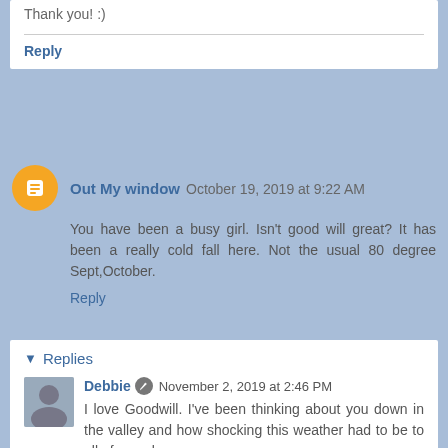Thank you! :)
Reply
Out My window  October 19, 2019 at 9:22 AM
You have been a busy girl. Isn't good will great? It has been a really cold fall here. Not the usual 80 degree Sept,October.
Reply
Replies
Debbie  November 2, 2019 at 2:46 PM
I love Goodwill. I've been thinking about you down in the valley and how shocking this weather had to be to all of you also.
Reply